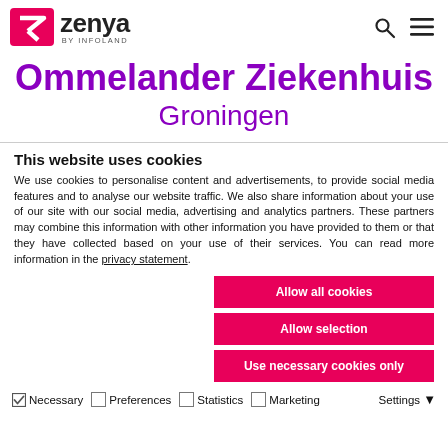[Figure (logo): Zenya by Infoland logo with pink Z checkmark icon and bold Zenya text]
Ommelander Ziekenhuis
Groningen
This website uses cookies
We use cookies to personalise content and advertisements, to provide social media features and to analyse our website traffic. We also share information about your use of our site with our social media, advertising and analytics partners. These partners may combine this information with other information you have provided to them or that they have collected based on your use of their services. You can read more information in the privacy statement.
Allow all cookies
Allow selection
Use necessary cookies only
Necessary  Preferences  Statistics  Marketing  Settings